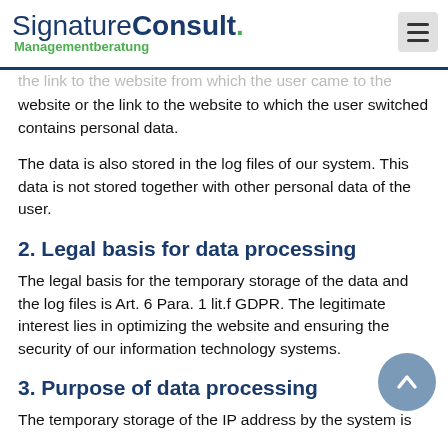SignatureConsult. Managementberatung
website or the link to the website to which the user switched contains personal data.
The data is also stored in the log files of our system. This data is not stored together with other personal data of the user.
2. Legal basis for data processing
The legal basis for the temporary storage of the data and the log files is Art. 6 Para. 1 lit.f GDPR. The legitimate interest lies in optimizing the website and ensuring the security of our information technology systems.
3. Purpose of data processing
The temporary storage of the IP address by the system is